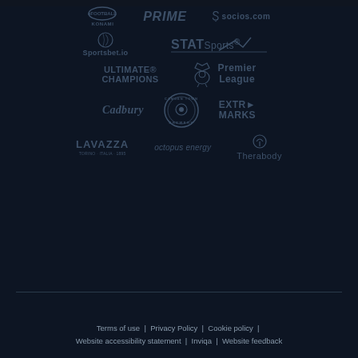[Figure (logo): Sponsor logos grid: Row 1: eFootball KONAMI, PRIME (Amazon), socios.com. Row 2: Sportsbet.io, STATSports. Row 3: ULTIMATE CHAMPIONS, Premier League. Row 4: Cadbury, Camden Town Brewery, EXTRAMARKS. Row 5: LAVAZZA, octopus energy, Therabody.]
Terms of use  |  Privacy Policy  |  Cookie policy  |  Website accessibility statement  |  Inviqa  |  Website feedback